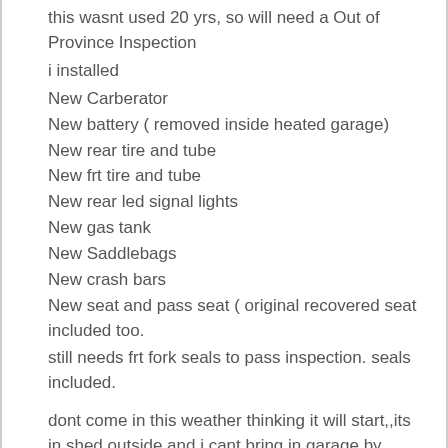this wasnt used 20 yrs, so will need a Out of Province Inspection
i installed
New Carberator
New battery ( removed inside heated garage)
New rear tire and tube
New frt tire and tube
New rear led signal lights
New gas tank
New Saddlebags
New crash bars
New seat and pass seat ( original recovered seat included too.
still needs frt fork seals to pass inspection. seals included.
dont come in this weather thinking it will start,,its in shed outside and i cant bring in garage by myself.